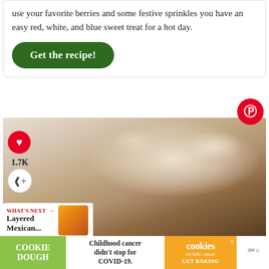use your favorite berries and some festive sprinkles you have an easy red, white, and blue sweet treat for a hot day.
Get the recipe!
[Figure (photo): Close-up photo of a layered chocolate and cream dessert/cake with toppings, social sharing UI overlaid including heart button, 1.7K count, share button, and Pinterest button]
WHAT'S NEXT → Layered Mexican...
[Figure (photo): Thumbnail of a Mexican layered dish with orange tones]
COOKIE DOUGH  Childhood cancer didn't stop for COVID-19.  cookies for kids' cancer  GET BAKING